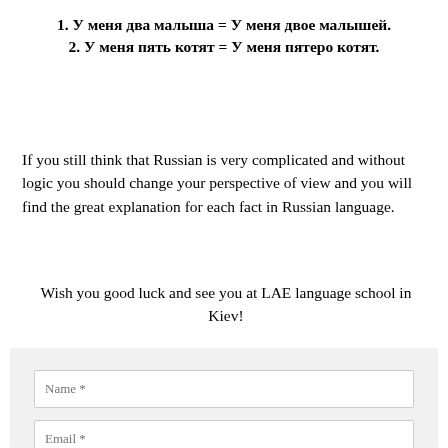1. У меня два малыша = У меня двое малышей.
2. У меня пять котят = У меня пятеро котят.
If you still think that Russian is very complicated and without logic you should change your perspective of view and you will find the great explanation for each fact in Russian language.
Wish you good luck and see you at LAE language school in Kiev!